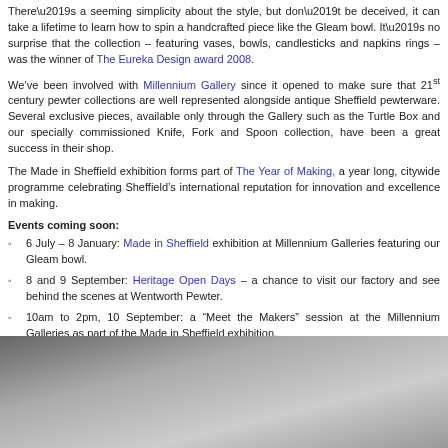There’s a seeming simplicity about the style, but don’t be deceived, it can take a lifetime to learn how to spin a handcrafted piece like the Gleam bowl. It’s no surprise that the collection – featuring vases, bowls, candlesticks and napkins rings – was the winner of The Eureka Design award 2008.
We’ve been involved with Millennium Gallery since it opened to make sure that 21st century pewter collections are well represented alongside antique Sheffield pewterware. Several exclusive pieces, available only through the Gallery such as the Turtle Box and our specially commissioned Knife, Fork and Spoon collection, have been a great success in their shop.
The Made in Sheffield exhibition forms part of The Year of Making, a year long, citywide programme celebrating Sheffield’s international reputation for innovation and excellence in making.
Events coming soon:
6 July – 8 January: Made in Sheffield exhibition at Millennium Galleries featuring our Gleam bowl.
8 and 9 September: Heritage Open Days – a chance to visit our factory and see behind the scenes at Wentworth Pewter.
10am to 2pm, 10 September: a “Meet the Makers” session at the Millennium Galleries as part of the Made in Sheffield exhibition.
[Figure (photo): Dark gradient image area at the bottom of the page, transitioning from dark grey on the left to lighter grey on the right]